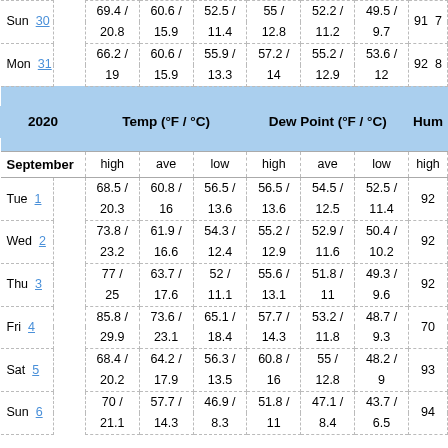| 2020 |  | Temp (°F / °C) |  |  | Dew Point (°F / °C) |  |  | Hum |
| --- | --- | --- | --- | --- | --- | --- | --- | --- |
| Sun | 30 | 69.4 / 20.8 | 60.6 / 15.9 | 52.5 / 11.4 | 55 / 12.8 | 52.2 / 11.2 | 49.5 / 9.7 | 91 | 7 |
| Mon | 31 | 66.2 / 19 | 60.6 / 15.9 | 55.9 / 13.3 | 57.2 / 14 | 55.2 / 12.9 | 53.6 / 12 | 92 | 8 |
| September |  | high | ave | low | high | ave | low | high |  |
| Tue | 1 | 68.5 / 20.3 | 60.8 / 16 | 56.5 / 13.6 | 56.5 / 13.6 | 54.5 / 12.5 | 52.5 / 11.4 | 92 |  |
| Wed | 2 | 73.8 / 23.2 | 61.9 / 16.6 | 54.3 / 12.4 | 55.2 / 12.9 | 52.9 / 11.6 | 50.4 / 10.2 | 92 |  |
| Thu | 3 | 77 / 25 | 63.7 / 17.6 | 52 / 11.1 | 55.6 / 13.1 | 51.8 / 11 | 49.3 / 9.6 | 92 |  |
| Fri | 4 | 85.8 / 29.9 | 73.6 / 23.1 | 65.1 / 18.4 | 57.7 / 14.3 | 53.2 / 11.8 | 48.7 / 9.3 | 70 |  |
| Sat | 5 | 68.4 / 20.2 | 64.2 / 17.9 | 56.3 / 13.5 | 60.8 / 16 | 55 / 12.8 | 48.2 / 9 | 93 |  |
| Sun | 6 | 70 / 21.1 | 57.7 / 14.3 | 46.9 / 8.3 | 51.8 / 11 | 47.1 / 8.4 | 43.7 / 6.5 | 94 |  |